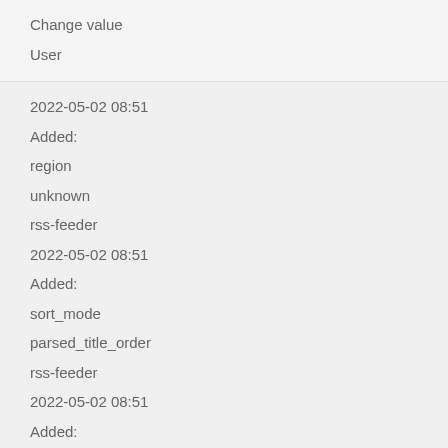Change value
User
2022-05-02 08:51
Added:
region
unknown
rss-feeder
2022-05-02 08:51
Added:
sort_mode
parsed_title_order
rss-feeder
2022-05-02 08:51
Added:
title
The Herbal Dungeon
rss-feeder
2022-05-02 08:51